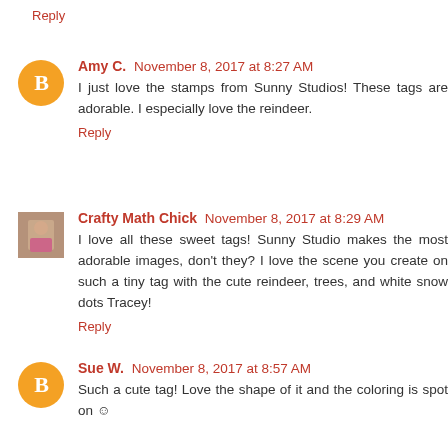Reply
Amy C. November 8, 2017 at 8:27 AM
I just love the stamps from Sunny Studios! These tags are adorable. I especially love the reindeer.
Reply
Crafty Math Chick November 8, 2017 at 8:29 AM
I love all these sweet tags! Sunny Studio makes the most adorable images, don't they? I love the scene you create on such a tiny tag with the cute reindeer, trees, and white snow dots Tracey!
Reply
Sue W. November 8, 2017 at 8:57 AM
Such a cute tag! Love the shape of it and the coloring is spot on ☺